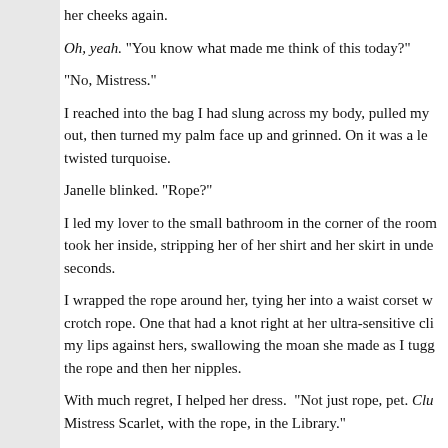her cheeks again.
Oh, yeah. “You know what made me think of this today?”
“No, Mistress.”
I reached into the bag I had slung across my body, pulled my out, then turned my palm face up and grinned. On it was a le twisted turquoise.
Janelle blinked. “Rope?”
I led my lover to the small bathroom in the corner of the room took her inside, stripping her of her shirt and her skirt in unde seconds.
I wrapped the rope around her, tying her into a waist corset w crotch rope. One that had a knot right at her ultra-sensitive cli my lips against hers, swallowing the moan she made as I tugg the rope and then her nipples.
With much regret, I helped her dress.  “Not just rope, pet. Clu Mistress Scarlet, with the rope, in the Library.”
An unrestrained laugh burst from her.  “You win, Mistress.”
I nipped her neck. “And so do you. Later.”